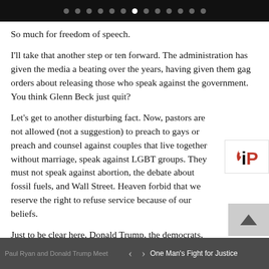navigation dots carousel
So much for freedom of speech.
I'll take that another step or ten forward. The administration has given the media a beating over the years, having given them gag orders about releasing those who speak against the government. You think Glenn Beck just quit?
Let's get to another disturbing fact. Now, pastors are not allowed (not a suggestion) to preach to gays or preach and counsel against couples that live together without marriage, speak against LGBT groups. They must not speak against abortion, the debate about fossil fuels, and Wall Street. Heaven forbid that we reserve the right to refuse service because of our beliefs.
Just to be clear here, Donald Trump, the democrats, George Soros, Bill Gates and social...oh,
Paul Ryan and Donald Trump Meet    One Man's Fight for Justice